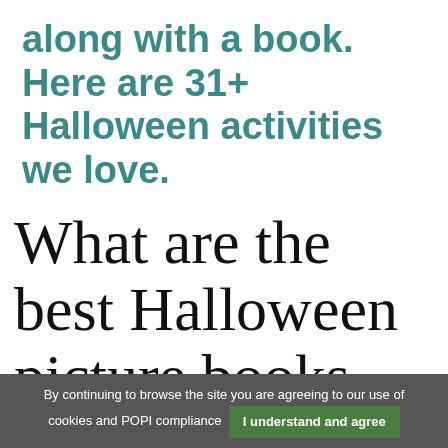along with a book. Here are 31+ Halloween activities we love.
What are the best Halloween picture books for kids?
By continuing to browse the site you are agreeing to our use of cookies and POPI compliance  I understand and agree